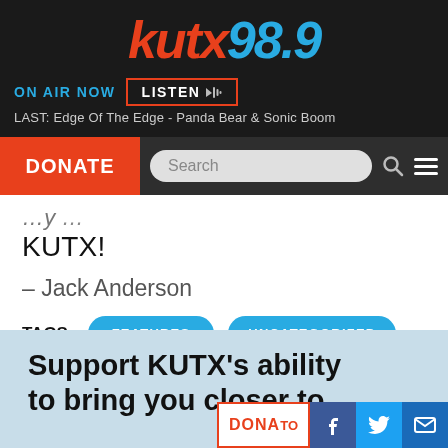kutx98.9
ON AIR NOW  LISTEN
LAST: Edge Of The Edge - Panda Bear & Sonic Boom
DONATE
Search
KUTX!
– Jack Anderson
TAGS: FEATURES  UNCATEGORIZED
Support KUTX's ability to bring you closer to